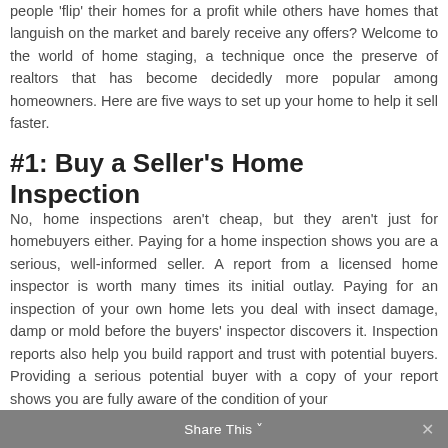people 'flip' their homes for a profit while others have homes that languish on the market and barely receive any offers? Welcome to the world of home staging, a technique once the preserve of realtors that has become decidedly more popular among homeowners. Here are five ways to set up your home to help it sell faster.
#1: Buy a Seller's Home Inspection
No, home inspections aren't cheap, but they aren't just for homebuyers either. Paying for a home inspection shows you are a serious, well-informed seller. A report from a licensed home inspector is worth many times its initial outlay. Paying for an inspection of your own home lets you deal with insect damage, damp or mold before the buyers' inspector discovers it. Inspection reports also help you build rapport and trust with potential buyers. Providing a serious potential buyer with a copy of your report shows you are fully aware of the condition of your
Share This ∨  ✕